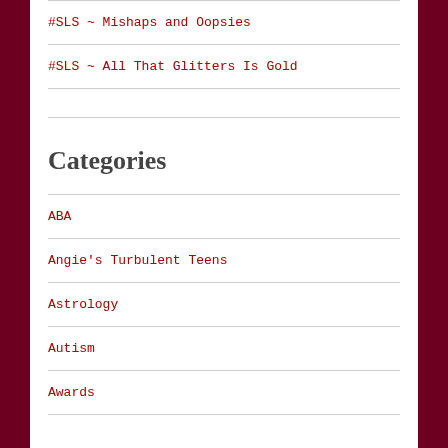#SLS ~ Mishaps and Oopsies
#SLS ~ All That Glitters Is Gold
Categories
ABA
Angie's Turbulent Teens
Astrology
Autism
Awards